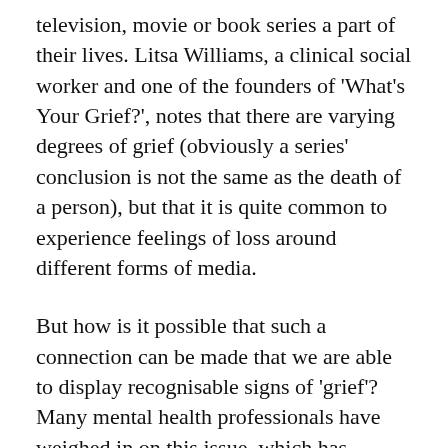television, movie or book series a part of their lives. Litsa Williams, a clinical social worker and one of the founders of 'What's Your Grief?', notes that there are varying degrees of grief (obviously a series' conclusion is not the same as the death of a person), but that it is quite common to experience feelings of loss around different forms of media.
But how is it possible that such a connection can be made that we are able to display recognisable signs of 'grief'? Many mental health professionals have weighed in on this issue, which has becoming increasingly apparent in our digital